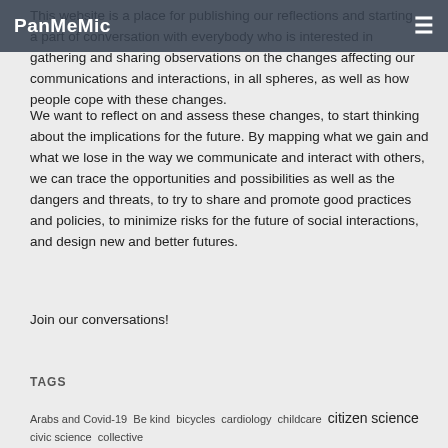PanMeMic ☰
This website is a place for publishing our reflections and starting a part of conversation with everybody who is interested in gathering and sharing observations on the changes affecting our communications and interactions, in all spheres, as well as how people cope with these changes.
We want to reflect on and assess these changes, to start thinking about the implications for the future. By mapping what we gain and what we lose in the way we communicate and interact with others, we can trace the opportunities and possibilities as well as the dangers and threats, to try to share and promote good practices and policies, to minimize risks for the future of social interactions, and design new and better futures.
Join our conversations!
TAGS
Arabs and Covid-19  Be kind  bicycles  cardiology  childcare  citizen science  civic science  collective